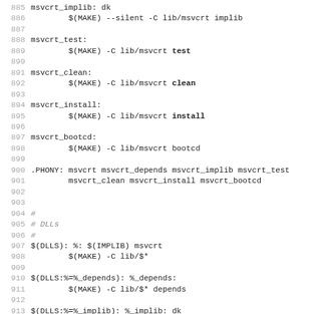Makefile code snippet, lines 885-917, showing msvcrt build targets and DLL rules